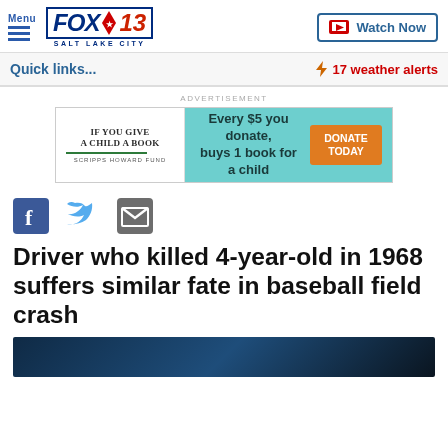Menu | FOX 13 SALT LAKE CITY | Watch Now
Quick links...
17 weather alerts
[Figure (infographic): Advertisement banner: IF YOU GIVE A CHILD A BOOK - SCRIPPS HOWARD FUND. Every $5 you donate, buys 1 book for a child. DONATE TODAY button.]
[Figure (infographic): Social share icons: Facebook, Twitter, Email]
Driver who killed 4-year-old in 1968 suffers similar fate in baseball field crash
[Figure (photo): Partial view of an article image with dark blue tones]